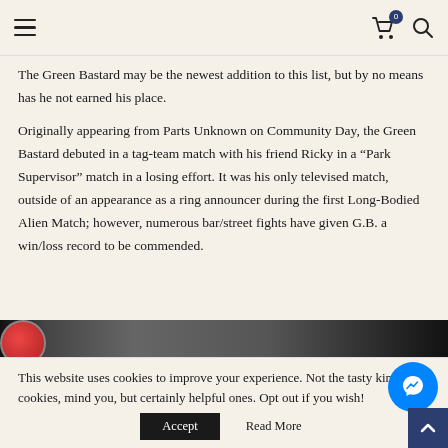Navigation header with hamburger menu, cart icon (0), and search icon
The Green Bastard may be the newest addition to this list, but by no means has he not earned his place.
Originally appearing from Parts Unknown on Community Day, the Green Bastard debuted in a tag-team match with his friend Ricky in a “Park Supervisor” match in a losing effort. It was his only televised match, outside of an appearance as a ring announcer during the first Long-Bodied Alien Match; however, numerous bar/street fights have given G.B. a win/loss record to be commended.
[Figure (photo): Dark partial image of a scene, partially obscured by cookie banner overlay]
This website uses cookies to improve your experience. Not the tasty kind of cookies, mind you, but certainly helpful ones. Opt out if you wish!
Accept   Read More